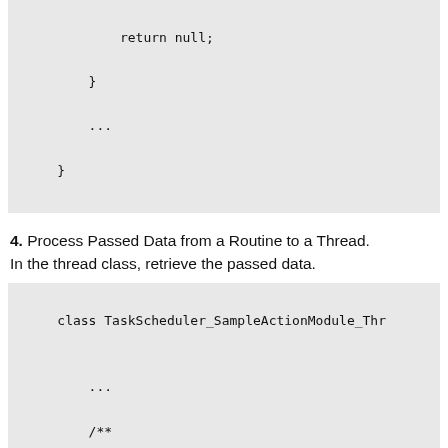return null;
    }
    ...
}
4. Process Passed Data from a Routine to a Thread. In the thread class, retrieve the passed data.
class TaskScheduler_SampleActionModule_Th...
    ...
    /**
     * Defines the behavior of the task ac
     */